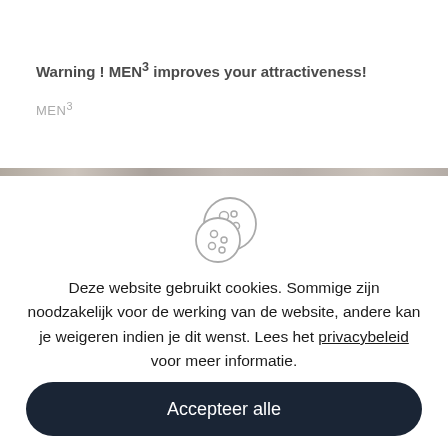Warning ! MEN³ improves your attractiveness!
MEN³
[Figure (illustration): Cookie icon: two overlapping cookie circles with dots/chips, drawn in light gray outline style]
Deze website gebruikt cookies. Sommige zijn noodzakelijk voor de werking van de website, andere kan je weigeren indien je dit wenst. Lees het privacybeleid voor meer informatie.
Accepteer alle
Aanpassen